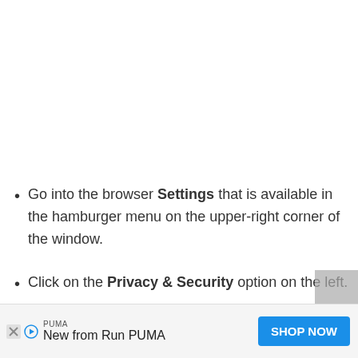Go into the browser Settings that is available in the hamburger menu on the upper-right corner of the window.
Click on the Privacy & Security option on the left.
[Figure (screenshot): Advertisement banner at the bottom of the page. Shows PUMA branding with text 'New from Run PUMA' and a blue 'SHOP NOW' button. Has close (X) and play icons on the left side.]